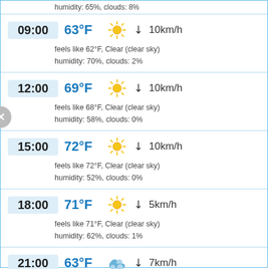humidity: 65%, clouds: 8%
09:00 | 63°F | Clear (clear sky) | ✔ 10km/h | feels like 62°F | humidity: 70%, clouds: 2%
12:00 | 69°F | Clear (clear sky) | ✔ 10km/h | feels like 68°F | humidity: 58%, clouds: 0%
15:00 | 72°F | Clear (clear sky) | ✔ 10km/h | feels like 72°F | humidity: 52%, clouds: 0%
18:00 | 71°F | Clear (clear sky) | ✔ 5km/h | feels like 71°F | humidity: 62%, clouds: 1%
21:00 | 63°F | Clouds (scattered clouds: 25-50%) | ✔ 7km/h | feels like 63°F | humidity: 73%, clouds: 36%